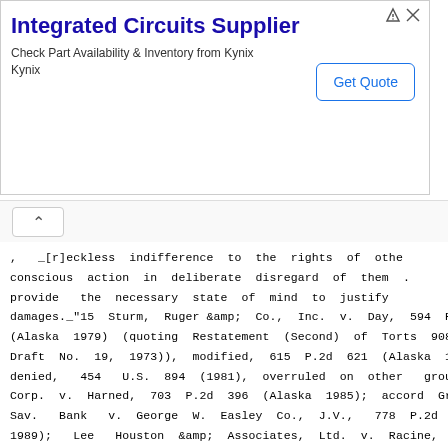[Figure (other): Advertisement banner for 'Integrated Circuits Supplier' by Kynix with a 'Get Quote' button]
, _[r]eckless indifference to the rights of others or conscious action in deliberate disregard of them . provide the necessary state of mind to justify damages._"15 Sturm, Ruger &amp; Co., Inc. v. Day, 594 P. (Alaska 1979) (quoting Restatement (Second) of Torts 908 Draft No. 19, 1973)), modified, 615 P.2d 621 (Alaska 1980 denied, 454 U.S. 894 (1981), overruled on other grounds Corp. v. Harned, 703 P.2d 396 (Alaska 1985); accord Great Sav. Bank v. George W. Easley Co., J.V., 778 P.2d 569 1989); Lee Houston &amp; Associates, Ltd. v. Racine, 80 (Alaska 1991). Punitive damages require proof by c convincing evidence. AS 09.17.020.